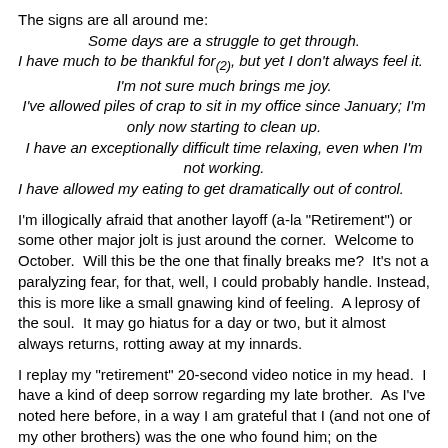The signs are all around me:
Some days are a struggle to get through.
I have much to be thankful for(2), but yet I don't always feel it.
I'm not sure much brings me joy.
I've allowed piles of crap to sit in my office since January; I'm only now starting to clean up.
I have an exceptionally difficult time relaxing, even when I'm not working.
I have allowed my eating to get dramatically out of control.
I'm illogically afraid that another layoff (a-la "Retirement") or some other major jolt is just around the corner.  Welcome to October.  Will this be the one that finally breaks me?  It's not a paralyzing fear, for that, well, I could probably handle.  Instead, this is more like a small gnawing kind of feeling.  A leprosy of the soul.  It may go hiatus for a day or two, but it almost always returns, rotting away at my innards.
I replay my "retirement" 20-second video notice in my head.  I have a kind of deep sorrow regarding my late brother.  As I've noted here before, in a way I am grateful that I (and not one of my other brothers) was the one who found him; on the